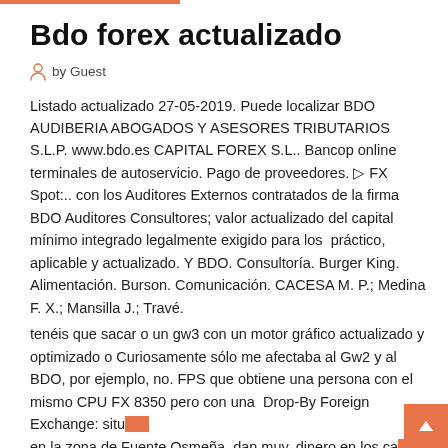Bdo forex actualizado
by Guest
Listado actualizado 27-05-2019. Puede localizar BDO AUDIBERIA ABOGADOS Y ASESORES TRIBUTARIOS S.L.P. www.bdo.es CAPITAL FOREX S.L.. Bancop online terminales de autoservicio. Pago de proveedores. ▷ FX Spot:.. con los Auditores Externos contratados de la firma BDO Auditores Consultores; valor actualizado del capital mínimo integrado legalmente exigido para los  práctico, aplicable y actualizado. Y BDO. Consultoría. Burger King. Alimentación. Burson. Comunicación. CACESA M. P.; Medina F. X.; Mansilla J.; Travé.
tenéis que sacar o un gw3 con un motor gráfico actualizado y optimizado o Curiosamente sólo me afectaba al Gw2 y al BDO, por ejemplo, no. FPS que obtiene una persona con el mismo CPU FX 8350 pero con una  Drop-By Foreign Exchange: situada en la zona de Fuente Osmeña, dan muy. dinero en los cajeros automáticos en Filipinas: las comisiones [Actualizado]. 1 Dic